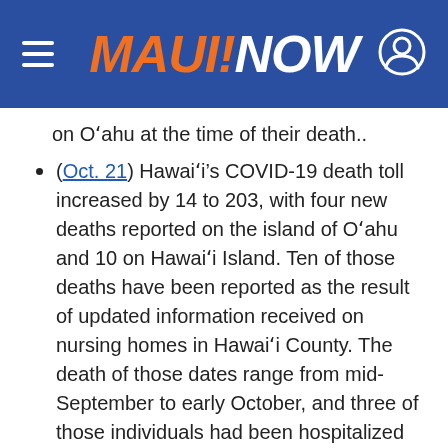MAUI NOW
on O‘ahu at the time of their death..
(Oct. 21) Hawai‘i’s COVID-19 death toll increased by 14 to 203, with four new deaths reported on the island of O‘ahu and 10 on Hawai‘i Island. Ten of those deaths have been reported as the result of updated information received on nursing homes in Hawai‘i County. The death of those dates range from mid-September to early October, and three of those individuals had been hospitalized at the time of their death. The four more recent deaths involved O‘ahu residents. The Hawai‘i Island cases include eight men, and two women, all 70 to 80 years or older who were nursing home residents. The O‘ahu cases involved one and three women, all 80 years or older w...